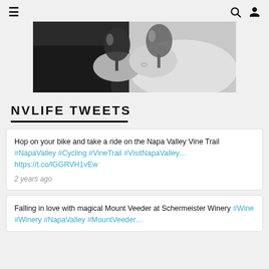≡  🔍  👤
[Figure (photo): Black and white photo of two people clinking wine glasses together]
NVLIFE TWEETS
Hop on your bike and take a ride on the Napa Valley Vine Trail #NapaValley #Cycling #VineTrail #VisitNapaValley… https://t.co/lGGRVH1vEw
2 years ago
Falling in love with magical Mount Veeder at Schermeister Winery #Wine #Winery #NapaValley #MountVeeder…